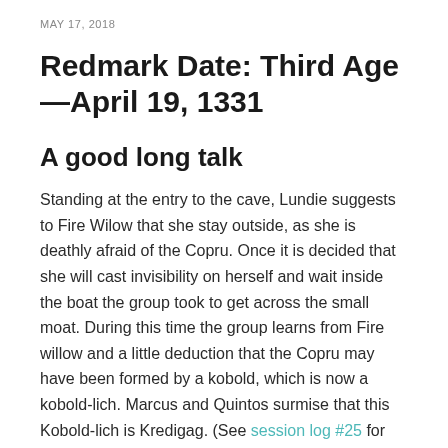MAY 17, 2018
Redmark Date: Third Age—April 19, 1331
A good long talk
Standing at the entry to the cave, Lundie suggests to Fire Wilow that she stay outside, as she is deathly afraid of the Copru. Once it is decided that she will cast invisibility on herself and wait inside the boat the group took to get across the small moat. During this time the group learns from Fire willow and a little deduction that the Copru may have been formed by a kobold, which is now a kobold-lich. Marcus and Quintos surmise that this Kobold-lich is Kredigag. (See session log #25 for details).
Nearthe end of the conversation Quintos (or was it his...